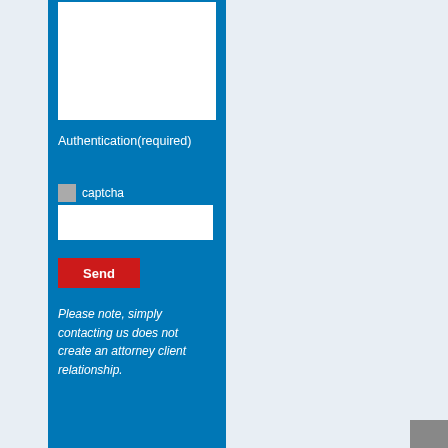[Figure (screenshot): White textarea input box at top of blue contact form panel]
Authentication(required)
[Figure (screenshot): Captcha image placeholder with 'captcha' alt text]
[Figure (screenshot): White input field for captcha entry]
[Figure (screenshot): Red Send button]
Please note, simply contacting us does not create an attorney client relationship.